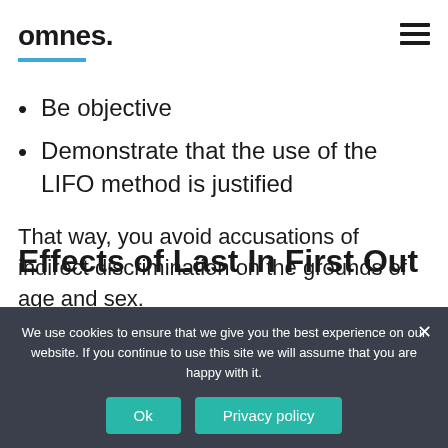omnes.
Be objective
Demonstrate that the use of the LIFO method is justified
That way, you avoid accusations of indirect discrimination on the grounds of age and sex.
Effects of Last In First Out
We use cookies to ensure that we give you the best experience on our website. If you continue to use this site we will assume that you are happy with it.